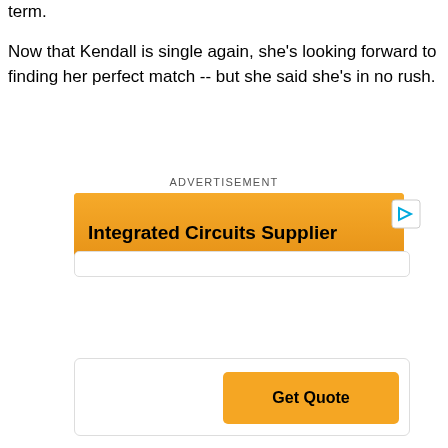term.
Now that Kendall is single again, she's looking forward to finding her perfect match -- but she said she's in no rush.
ADVERTISEMENT
[Figure (other): Advertisement banner for Integrated Circuits Supplier with orange background and a play button icon, plus a Get Quote button in a white card below.]